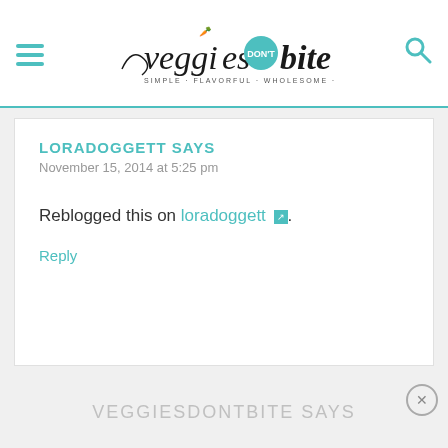[Figure (logo): Veggies Don't Bite logo with tagline: SIMPLE · FLAVORFUL · WHOLESOME · PLANTS]
LORADOGGETT SAYS
November 15, 2014 at 5:25 pm
Reblogged this on loradoggett.
Reply
VEGGIESDONTBITE SAYS